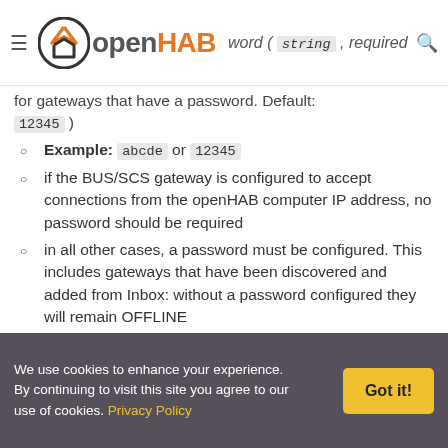openHAB — …word ( string , required for gateways that have a password. Default: 12345 )
Example: abcde or 12345
if the BUS/SCS gateway is configured to accept connections from the openHAB computer IP address, no password should be required
in all other cases, a password must be configured. This includes gateways that have been discovered and added from Inbox: without a password configured they will remain OFFLINE
discoveryByActivation : discover BUS devices
We use cookies to enhance your experience. By continuing to visit this site you agree to our use of cookies. Privacy Policy